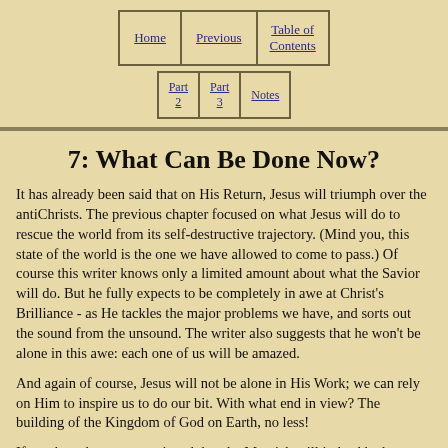Home | Previous | Table of Contents | Part 2 | Part 3 | Notes
7:  What Can Be Done Now?
It has already been said that on His Return, Jesus will triumph over the antiChrists. The previous chapter focused on what Jesus will do to rescue the world from its self-destructive trajectory. (Mind you, this state of the world is the one we have allowed to come to pass.) Of course this writer knows only a limited amount about what the Savior will do. But he fully expects to be completely in awe at Christ's Brilliance - as He tackles the major problems we have, and sorts out the sound from the unsound. The writer also suggests that he won't be alone in this awe: each one of us will be amazed.
And again of course, Jesus will not be alone in His Work; we can rely on Him to inspire us to do our bit. With what end in view? The building of the Kingdom of God on Earth, no less!
If you have become convinced that the Messiah will indeed be here